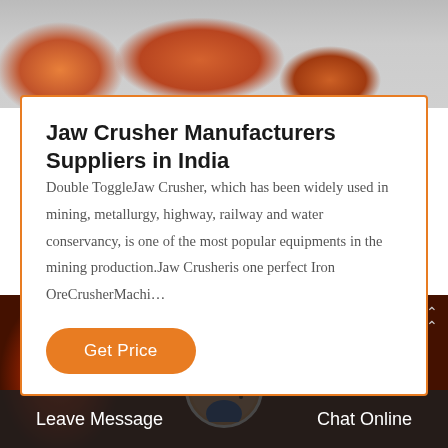[Figure (photo): Orange industrial jaw crusher machinery photographed from above on grey floor]
Jaw Crusher Manufacturers Suppliers in India
Double ToggleJaw Crusher, which has been widely used in mining, metallurgy, highway, railway and water conservancy, is one of the most popular equipments in the mining production.Jaw Crusheris one perfect Iron OreCrusherMachi…
[Figure (photo): Industrial machinery in a factory warehouse with large cylindrical equipment and a customer service representative avatar overlay; bottom bar with Leave Message and Chat Online buttons]